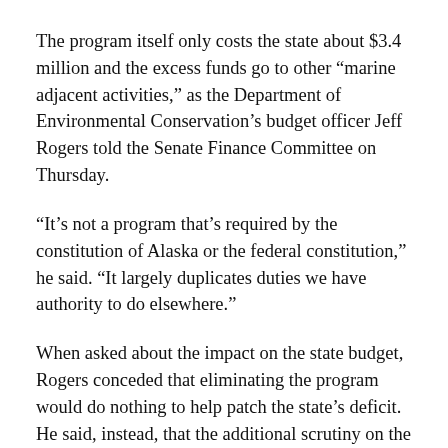The program itself only costs the state about $3.4 million and the excess funds go to other “marine adjacent activities,” as the Department of Environmental Conservation’s budget officer Jeff Rogers told the Senate Finance Committee on Thursday.
“It’s not a program that’s required by the constitution of Alaska or the federal constitution,” he said. “It largely duplicates duties we have authority to do elsewhere.”
When asked about the impact on the state budget, Rogers conceded that eliminating the program would do nothing to help patch the state’s deficit. He said, instead, that the additional scrutiny on the cruise ship industry isn’t fair.
“It’s the only industry being singled out…